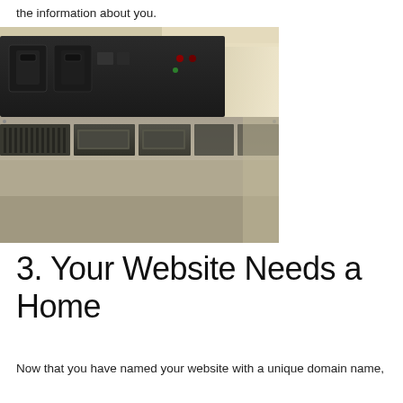the information about you.
[Figure (photo): Close-up photograph of rack-mounted server hardware showing drive bays, metal chassis, and status indicator lights.]
3. Your Website Needs a Home
Now that you have named your website with a unique domain name,